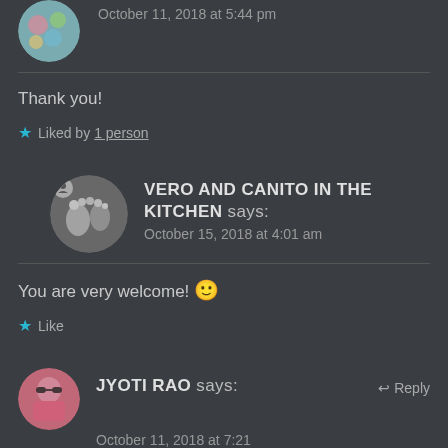[Figure (photo): Circular avatar of a person with floral/colorful image, partially visible at top]
October 11, 2018 at 5:44 pm
Thank you!
★ Liked by 1 person
[Figure (photo): Circular avatar black and white photo (baby feet or similar image) with small user icon badge]
VERO AND CANITO IN THE KITCHEN says:
October 15, 2018 at 4:01 am
You are very welcome! 🙂
★ Like
[Figure (photo): Circular avatar of a woman in pink with sunglasses]
JYOTI RAO says:
↩ Reply
October 11, 2018 at 7:21